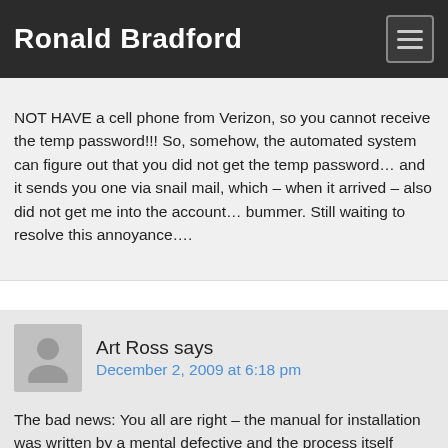Ronald Bradford
NOT HAVE a cell phone from Verizon, so you cannot receive the temp password!!! So, somehow, the automated system can figure out that you did not get the temp password… and it sends you one via snail mail, which – when it arrived – also did not get me into the account… bummer. Still waiting to resolve this annoyance….
Art Ross says
December 2, 2009 at 6:18 pm
The bad news: You all are right – the manual for installation was written by a mental defective and the process itself sheer torture.
The good news: Verizon's phone people are super for